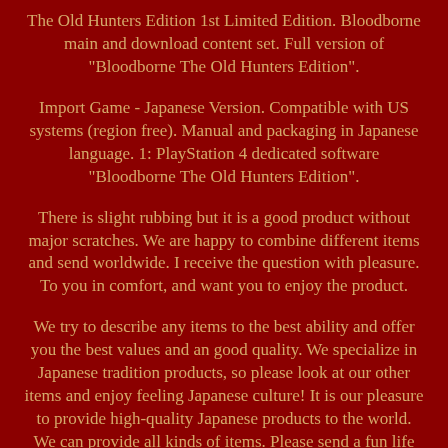The Old Hunters Edition 1st Limited Edition. Bloodborne main and download content set. Full version of "Bloodborne The Old Hunters Edition".
Import Game - Japanese Version. Compatible with US systems (region free). Manual and packaging in Japanese language. 1: PlayStation 4 dedicated software "Bloodborne The Old Hunters Edition".
There is slight rubbing but it is a good product without major scratches. We are happy to combine different items and send worldwide. I receive the question with pleasure. To you in comfort, and want you to enjoy the product.
We try to describe any items to the best ability and offer you the best values and an good quality. We specialize in Japanese tradition products, so please look at our other items and enjoy feeling Japanese culture! It is our pleasure to provide high-quality Japanese products to the world. We can provide all kinds of items. Please send a fun life by a Japanese goods!